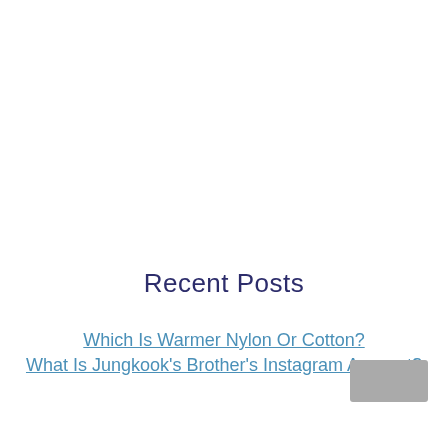Recent Posts
Which Is Warmer Nylon Or Cotton?
What Is Jungkook's Brother's Instagram Account?